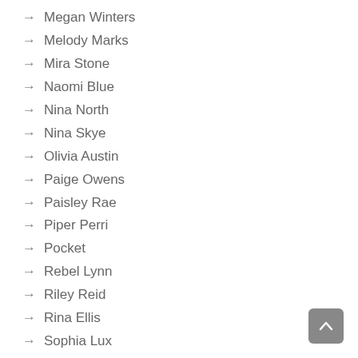→ Megan Winters
→ Melody Marks
→ Mira Stone
→ Naomi Blue
→ Nina North
→ Nina Skye
→ Olivia Austin
→ Paige Owens
→ Paisley Rae
→ Piper Perri
→ Pocket
→ Rebel Lynn
→ Riley Reid
→ Rina Ellis
→ Sophia Lux
→ Summer Brooks
→ Sydney Cole
→ Uncategorized
→ Vina Sky